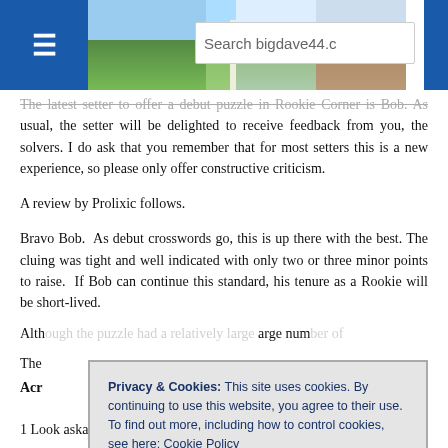Search bigdave44.co [header with landscape image and hamburger menu]
The latest setter to offer a debut puzzle in Rookie Corner is Bob. As usual, the setter will be delighted to receive feedback from you, the solvers. I do ask that you remember that for most setters this is a new experience, so please only offer constructive criticism.
A review by Prolixic follows.
Bravo Bob. As debut crosswords go, this is up there with the best. The cluing was tight and well indicated with only two or three minor points to raise. If Bob can continue this standard, his tenure as a Rookie will be short-lived.
Alth[ough] ... arge num[ber]
The
Acr[oss]
1 Look askance in case of grid winning medal (4)
Privacy & Cookies: This site uses cookies. By continuing to use this website, you agree to their use. To find out more, including how to control cookies, see here: Cookie Policy   Close and accept